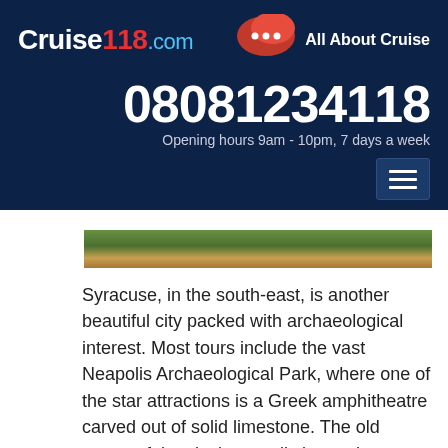Cruise118.com — All About Cruise
08081234118
Opening hours 9am - 10pm, 7 days a week
[Figure (photo): Partial view of a scenic coastal or garden scene, visible as an image strip with trees and buildings]
Syracuse, in the south-east, is another beautiful city packed with archaeological interest. Most tours include the vast Neapolis Archaeological Park, where one of the star attractions is a Greek amphitheatre carved out of solid limestone. The old sector of the city is actually located on Ortygia Island, separated by a canal from the mainland and is easy to stroll around, with pretty waterfront gardens, cobbled squares and elegant streets lined with ornate, if slightly shabby medieval and baroque palaces. Syracuse is slightly